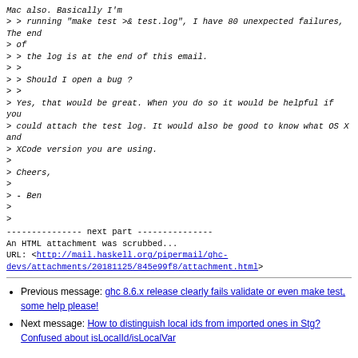Mac also. Basically I'm
> > running "make test >& test.log", I have 80 unexpected failures, The end
> of
> > the log is at the end of this email.
> >
> > Should I open a bug ?
> >
> Yes, that would be great. When you do so it would be helpful if you
> could attach the test log. It would also be good to know what OS X and
> XCode version you are using.
>
> Cheers,
>
> - Ben
>
>
--------------- next part ---------------
An HTML attachment was scrubbed...
URL: <http://mail.haskell.org/pipermail/ghc-devs/attachments/20181125/845e99f8/attachment.html>
Previous message: ghc 8.6.x release clearly fails validate or even make test, some help please!
Next message: How to distinguish local ids from imported ones in Stg? Confused about isLocalId/isLocalVar